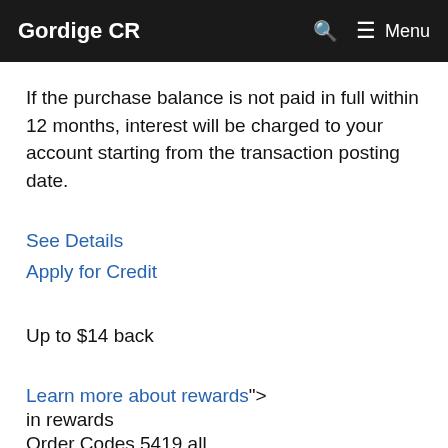Gordige CR   🔍   ≡ Menu
If the purchase balance is not paid in full within 12 months, interest will be charged to your account starting from the transaction posting date.
See Details
Apply for Credit
Up to $14 back
Learn more about rewards">
in rewards
Order Codes 5419 all